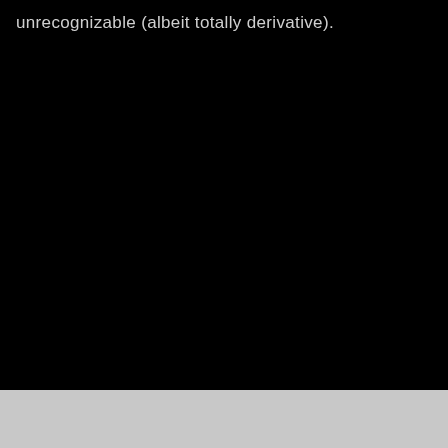unrecognizable (albeit totally derivative).